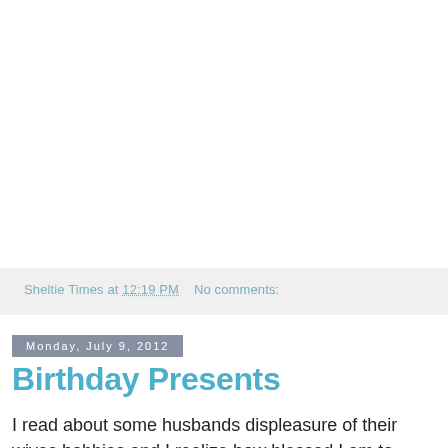Sheltie Times at 12:19 PM    No comments:
Monday, July 9, 2012
Birthday Presents
I read about some husbands displeasure of their wives hobbies and I realize how blessed I am to have a supportive